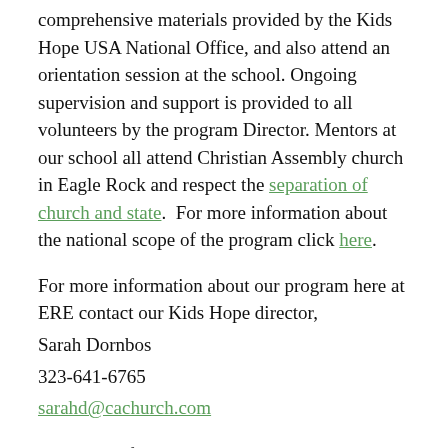comprehensive materials provided by the Kids Hope USA National Office, and also attend an orientation session at the school. Ongoing supervision and support is provided to all volunteers by the program Director. Mentors at our school all attend Christian Assembly church in Eagle Rock and respect the separation of church and state.  For more information about the national scope of the program click here.
For more information about our program here at ERE contact our Kids Hope director,
Sarah Dornbos
323-641-6765
sarahd@cachurch.com
For more information about our Kids H...